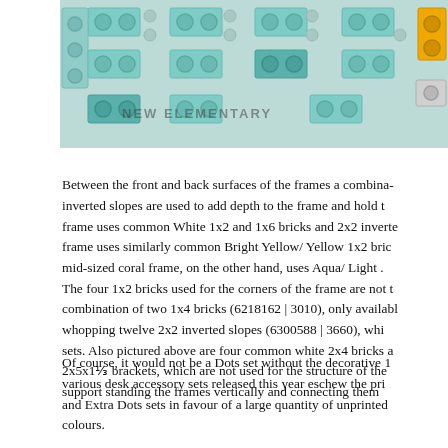[Figure (photo): Photo of LEGO bricks in aqua/teal and yellow colours arranged on a grey baseplate, with 'NEW ELEMENTARY' watermark text visible]
Between the front and back surfaces of the frames a combination of inverted slopes are used to add depth to the frame and hold the frame uses common White 1x2 and 1x6 bricks and 2x2 inverted frame uses similarly common Bright Yellow/ Yellow 1x2 bricks mid-sized coral frame, on the other hand, uses Aqua/ Light The four 1x2 bricks used for the corners of the frame are not combination of two 1x4 bricks (6218162 | 3010), only available whopping twelve 2x2 inverted slopes (6300588 | 3660), which sets. Also pictured above are four common white 2x4 bricks and 2x5x1⅓ brackets, which are not used for the structure of the support standing the frames vertically and connecting them
Of course, it would not be a Dots set without the decorative 1 various desk accessory sets released this year eschew the printed and Extra Dots sets in favour of a large quantity of unprinted colours.